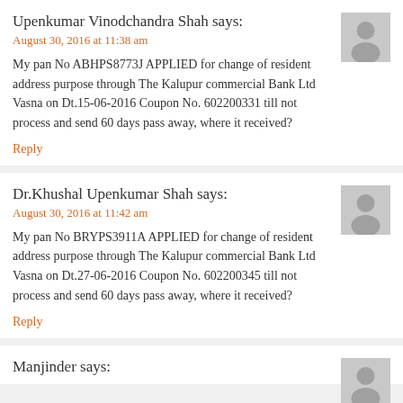Upenkumar Vinodchandra Shah says:
August 30, 2016 at 11:38 am
My pan No ABHPS8773J APPLIED for change of resident address purpose through The Kalupur commercial Bank Ltd Vasna on Dt.15-06-2016 Coupon No. 602200331 till not process and send 60 days pass away, where it received?
Reply
Dr.Khushal Upenkumar Shah says:
August 30, 2016 at 11:42 am
My pan No BRYPS3911A APPLIED for change of resident address purpose through The Kalupur commercial Bank Ltd Vasna on Dt.27-06-2016 Coupon No. 602200345 till not process and send 60 days pass away, where it received?
Reply
Manjinder says: